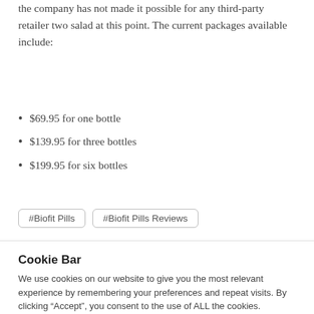the company has not made it possible for any third-party retailer two salad at this point. The current packages available include:
$69.95 for one bottle
$139.95 for three bottles
$199.95 for six bottles
#Biofit Pills   #Biofit Pills Reviews
Cookie Bar
We use cookies on our website to give you the most relevant experience by remembering your preferences and repeat visits. By clicking “Accept”, you consent to the use of ALL the cookies.
Cookie settings   ACCEPT